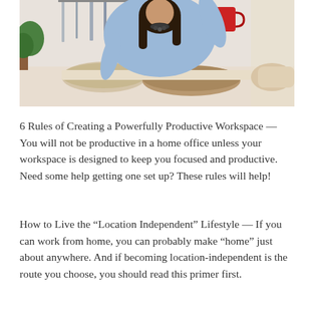[Figure (photo): A woman with long dark hair wearing a light blue shirt and statement necklace, holding a red mug, leaning over a table with rolled paper/blueprints. Another person's hands are visible on the right. Clothing rack visible in background.]
6 Rules of Creating a Powerfully Productive Workspace — You will not be productive in a home office unless your workspace is designed to keep you focused and productive. Need some help getting one set up? These rules will help!
How to Live the “Location Independent” Lifestyle — If you can work from home, you can probably make “home” just about anywhere. And if becoming location-independent is the route you choose, you should read this primer first.